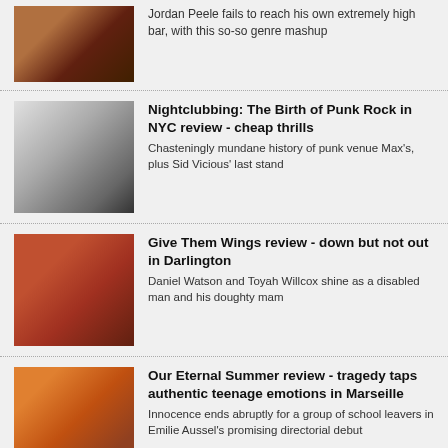[Figure (photo): Movie still thumbnail - warm toned, brown/orange hues]
Jordan Peele fails to reach his own extremely high bar, with this so-so genre mashup
[Figure (photo): Black and white photo of punk rock musicians]
Nightclubbing: The Birth of Punk Rock in NYC review - cheap thrills
Chasteningly mundane history of punk venue Max's, plus Sid Vicious' last stand
[Figure (photo): Movie still - reddish tones, figures in scene]
Give Them Wings review - down but not out in Darlington
Daniel Watson and Toyah Willcox shine as a disabled man and his doughty mam
[Figure (photo): Summer scene, warm orange tones, group of young people]
Our Eternal Summer review - tragedy taps authentic teenage emotions in Marseille
Innocence ends abruptly for a group of school leavers in Emilie Aussel's promising directorial debut
[Figure (photo): Blue/purple neon lit scene - Bullet Train movie still]
Bullet Train review - not really a first class ticket
Brad Pitt and some superlative set-pieces keep this action comedy on the tracks
[Figure (photo): Partial thumbnail - blue tones]
Hit the Road review - leaving Tehran for truth and freedom